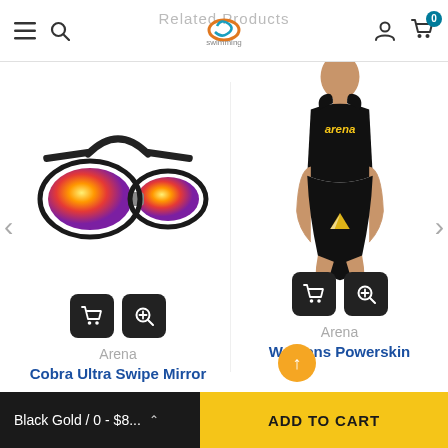Related Products
[Figure (photo): Arena Cobra Ultra Swipe Mirror swimming goggles with orange/red mirrored lenses and white/black frame with black strap]
Arena
Cobra Ultra Swipe Mirror
[Figure (photo): Arena Womens Powerskin Carbon-Air racing swimsuit in black with gold Arena logo, worn by female model]
Arena
Womens Powerskin
Black Gold / 0 - $8...  ADD TO CART